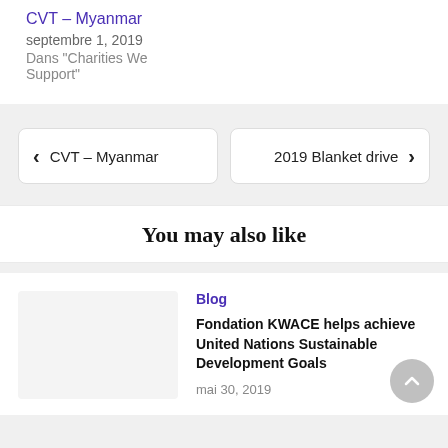CVT – Myanmar
septembre 1, 2019
Dans "Charities We Support"
❮  CVT – Myanmar
2019 Blanket drive  ❯
You may also like
Blog
Fondation KWACE helps achieve United Nations Sustainable Development Goals
mai 30, 2019